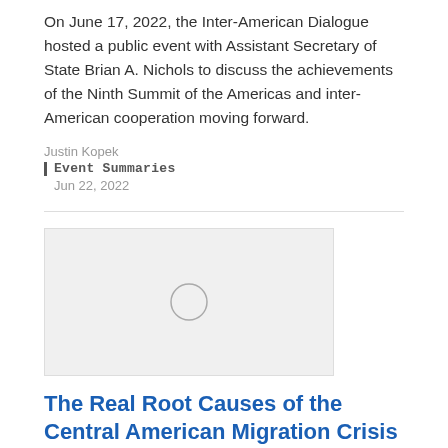On June 17, 2022, the Inter-American Dialogue hosted a public event with Assistant Secretary of State Brian A. Nichols to discuss the achievements of the Ninth Summit of the Americas and inter-American cooperation moving forward.
Justin Kopek
Event Summaries
Jun 22, 2022
[Figure (photo): Image placeholder with loading spinner circle icon, light gray background]
The Real Root Causes of the Central American Migration Crisis
The number of migrants attempting to cross the border